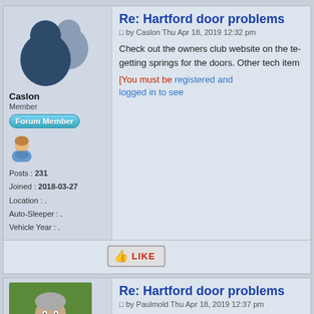Re: Hartford door problems
by Caslon Thu Apr 18, 2019 12:32 pm
Check out the owners club website on the te- getting springs for the doors. Other tech item [You must be registered and logged in to see
[Figure (illustration): Generic silhouette avatar placeholder for user Caslon]
Caslon
Member
Forum Member
Posts : 231
Joined : 2018-03-27
Location : .
Auto-Sleeper : .
Vehicle Year : .
LIKE
Re: Hartford door problems
by Paulmold Thu Apr 18, 2019 12:37 pm
To see the tech pages of the website you ha- will need build number which Traficlady won- they will supply springs without that build n-
[Figure (photo): Profile photo of user Paulmold - middle-aged man with grey hair outdoors on grass]